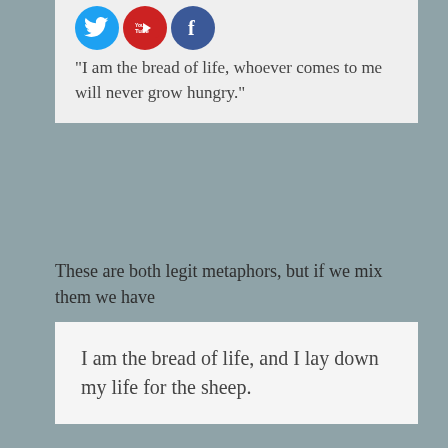[Figure (illustration): Social media icons: Twitter (blue bird), YouTube (red), Facebook (blue f)]
"I am the bread of life, whoever comes to me will never grow hungry."
These are both legit metaphors, but if we mix them we have
I am the bread of life, and I lay down my life for the sheep.
The comparison is nonsensical.  Bread doesn't lay down its life for anything, let alone sheep.
Unlike a metaphor, this silly comparison does not lead to deeper reflections on who Jesus is, it just leaves us puzzled, or shaking our heads.